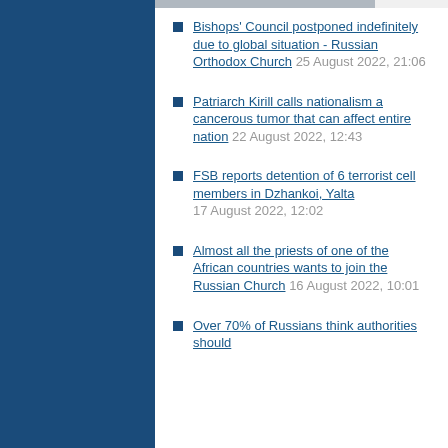Bishops' Council postponed indefinitely due to global situation - Russian Orthodox Church 25 August 2022, 21:06
Patriarch Kirill calls nationalism a cancerous tumor that can affect entire nation 22 August 2022, 12:43
FSB reports detention of 6 terrorist cell members in Dzhankoi, Yalta 17 August 2022, 12:02
Almost all the priests of one of the African countries wants to join the Russian Church 16 August 2022, 10:01
Over 70% of Russians think authorities should